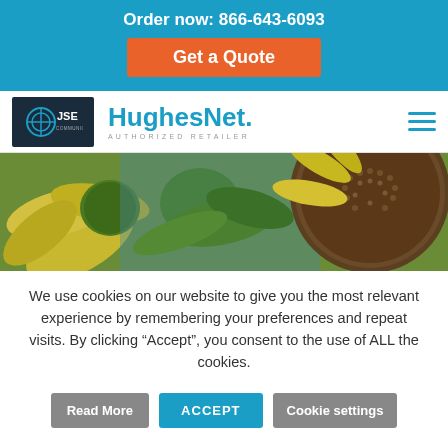Order now: 866-643-6093
Get a Quote
[Figure (logo): JSE Communications logo (dark background with teal circular icon) next to HughesNet Authorized Retailer branding and hamburger menu]
[Figure (photo): Close-up photo of sunflowers showing yellow petals and a large sunflower head with seeds]
We use cookies on our website to give you the most relevant experience by remembering your preferences and repeat visits. By clicking “Accept”, you consent to the use of ALL the cookies.
Read More
ACCEPT
Cookie settings